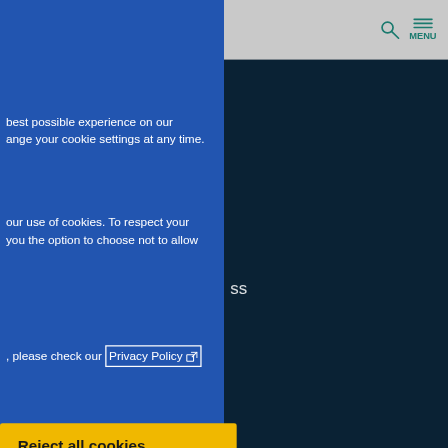MENU navigation bar with search and menu icons
best possible experience on our
ange your cookie settings at any time.
our use of cookies. To respect your
you the option to choose not to allow
, please check our Privacy Policy
Reject all cookies
COOKIES
nable you to move around our
f the sites to work correctly.
uch as navigating between
experience some problems
tatement